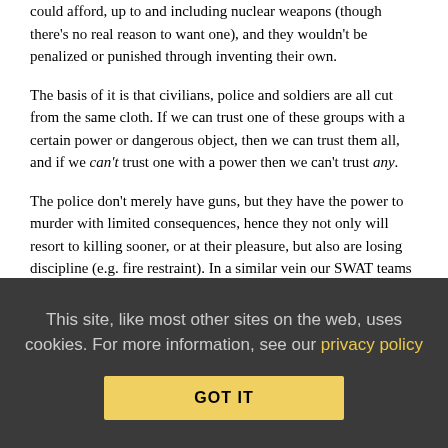could afford, up to and including nuclear weapons (though there's no real reason to want one), and they wouldn't be penalized or punished through inventing their own.
The basis of it is that civilians, police and soldiers are all cut from the same cloth. If we can trust one of these groups with a certain power or dangerous object, then we can trust them all, and if we can't trust one with a power then we can't trust any.
The police don't merely have guns, but they have the power to murder with limited consequences, hence they not only will resort to killing sooner, or at their pleasure, but also are losing discipline (e.g. fire restraint). In a similar vein our SWAT teams are organized more like volunteer fire departments and used to invade ordinary houses rather than (their original intent) hostage-barricade situations.
You're right in that the people needed to defend our rights in
This site, like most other sites on the web, uses cookies. For more information, see our privacy policy
GOT IT